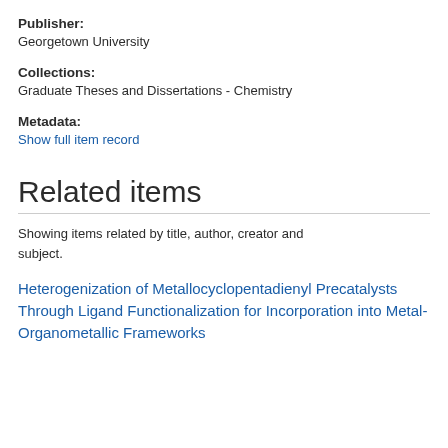Publisher:
Georgetown University
Collections:
Graduate Theses and Dissertations - Chemistry
Metadata:
Show full item record
Related items
Showing items related by title, author, creator and subject.
Heterogenization of Metallocyclopentadienyl Precatalysts Through Ligand Functionalization for Incorporation into Metal-Organometallic Frameworks